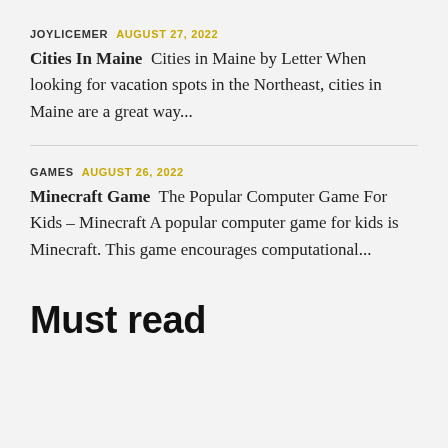JOYLICEMER  AUGUST 27, 2022
Cities In Maine  Cities in Maine by Letter When looking for vacation spots in the Northeast, cities in Maine are a great way...
GAMES  AUGUST 26, 2022
Minecraft Game  The Popular Computer Game For Kids – Minecraft A popular computer game for kids is Minecraft. This game encourages computational...
Must read